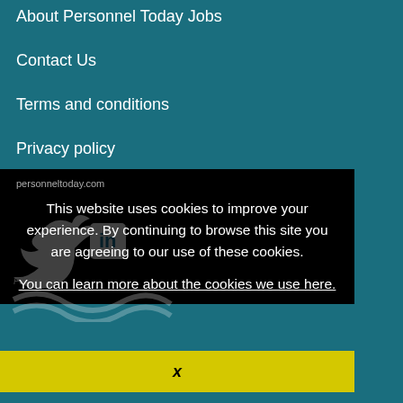About Personnel Today Jobs
Contact Us
Terms and conditions
Privacy policy
personneltoday.com
This website uses cookies to improve your experience. By continuing to browse this site you are agreeing to our use of these cookies.
You can learn more about the cookies we use here.
x